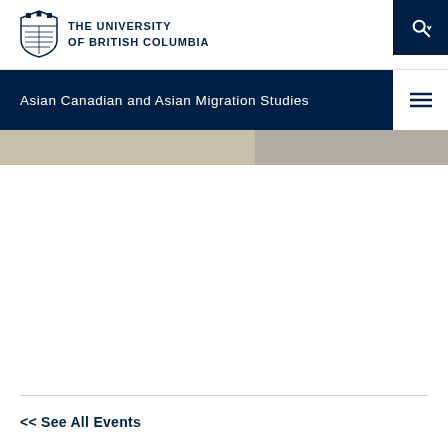[Figure (logo): UBC shield logo with text THE UNIVERSITY OF BRITISH COLUMBIA]
THE UNIVERSITY OF BRITISH COLUMBIA
Asian Canadian and Asian Migration Studies
[Figure (photo): Partially visible banner image with beige and grey tones]
<< See All Events